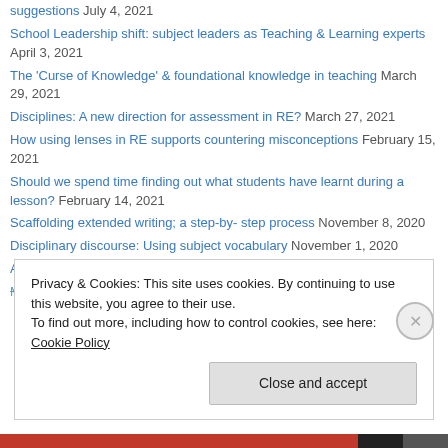suggestions July 4, 2021
School Leadership shift: subject leaders as Teaching & Learning experts April 3, 2021
The 'Curse of Knowledge' & foundational knowledge in teaching March 29, 2021
Disciplines: A new direction for assessment in RE? March 27, 2021
How using lenses in RE supports countering misconceptions February 15, 2021
Should we spend time finding out what students have learnt during a lesson? February 14, 2021
Scaffolding extended writing; a step-by- step process November 8, 2020
Disciplinary discourse: Using subject vocabulary November 1, 2020
A week in the life of…a visualiser in RE October 24, 2020
Multidisciplinary argumentation in RE October 11, 2020
Privacy & Cookies: This site uses cookies. By continuing to use this website, you agree to their use. To find out more, including how to control cookies, see here: Cookie Policy
Close and accept